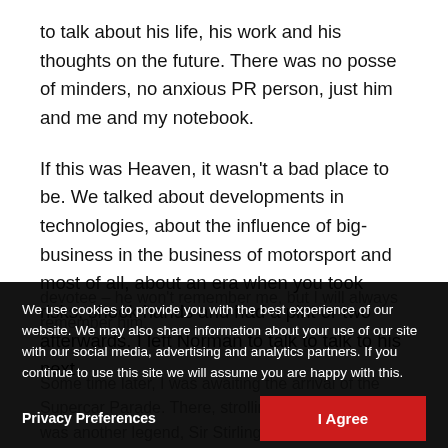to talk about his life, his work and his thoughts on the future. There was no posse of minders, no anxious PR person, just him and me and my notebook.
If this was Heaven, it wasn't a bad place to be. We talked about developments in technologies, about the influence of big-business in the business of motorsport and most of all, about an era when you took risks, shook hands and had a pint or two afterwards. I left Norman to talk to talk to his next
devotee – he won't remember me, but I will always remember him.
Some time later, I was awaiting the arrival of the Supercar Parade. There, strolling towards a podium was another legend, Sir Stirling Moss.
As the V-engined monsters made their arrival, he
We use cookies to provide you with the best experience of our website. We may also share information about your use of our site with our social media, advertising and analytics partners. If you continue to use this site we will assume you are happy with this.
Privacy Preferences
I Agree